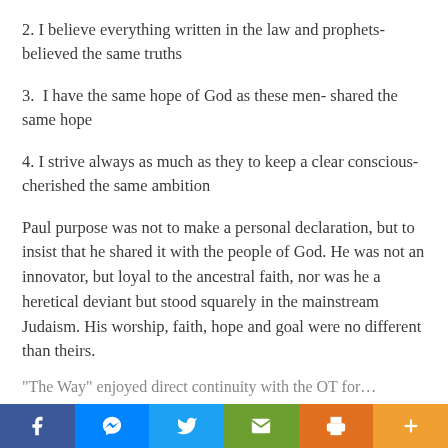2. I believe everything written in the law and prophets- believed the same truths
3.  I have the same hope of God as these men- shared the same hope
4. I strive always as much as they to keep a clear conscious- cherished the same ambition
Paul purpose was not to make a personal declaration, but to insist that he shared it with the people of God. He was not an innovator, but loyal to the ancestral faith, nor was he a heretical deviant but stood squarely in the mainstream Judaism. His worship, faith, hope and goal were no different than theirs.
"The Way" enjoyed direct continuity with the OT for…